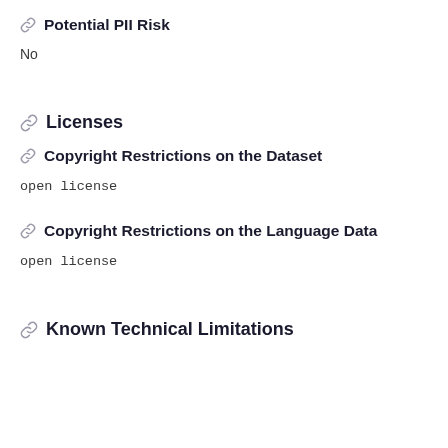Potential PII Risk
No
Licenses
Copyright Restrictions on the Dataset
open license
Copyright Restrictions on the Language Data
open license
Known Technical Limitations